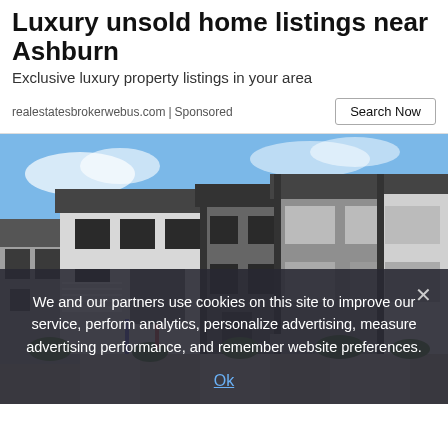Luxury unsold home listings near Ashburn
Exclusive luxury property listings in your area
realestatesbrokerwebus.com | Sponsored
[Figure (photo): Row of modern two-story townhomes with grey and white exterior, black window frames, driveways, and landscaping under a blue sky]
We and our partners use cookies on this site to improve our service, perform analytics, personalize advertising, measure advertising performance, and remember website preferences.